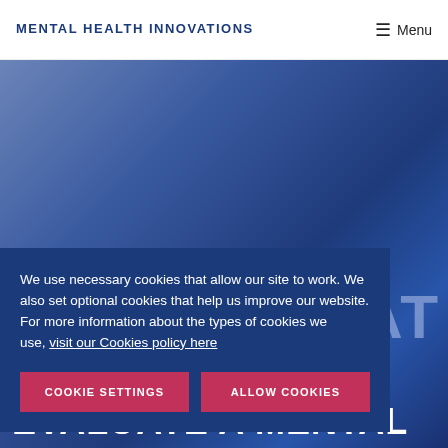MENTAL HEALTH INNOVATIONS
Menu
[Figure (photo): Blue-toned hero background image showing a person, partially obscured, with large white uppercase text reading 'EVALUATE A MENTAL' at the bottom and large semi-transparent letters 'AT' visible on the right side]
We use necessary cookies that allow our site to work. We also set optional cookies that help us improve our website. For more information about the types of cookies we use, visit our Cookies policy here
COOKIE SETTINGS
ALLOW COOKIES